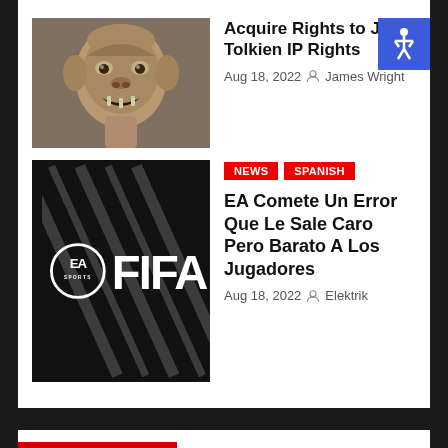[Figure (photo): Gollum character image from Lord of the Rings/The Hobbit]
Acquire Rights to JRR Tolkien IP Rights
Aug 18, 2022  James Wright
[Figure (photo): EA Sports FIFA 23 dark branded image]
NEWS
SPANISH
EA Comete Un Error Que Le Sale Caro Pero Barato A Los Jugadores
Aug 18, 2022  Elektrik
You missed
Translate »